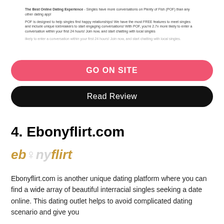The Best Online Dating Experience - Singles have more conversations on Plenty of Fish (POF) than any other dating app!
POF is designed to help singles find happy relationships! We have the most FREE features to meet singles and include unique icebreakers to start engaging conversations! With POF, you're 2.7x more likely to enter a conversation within your first 24 hours! Join now, and start chatting with local singles.
GO ON SITE
Read Review
4. Ebonyflirt.com
[Figure (logo): Ebonyflirt logo in gold/gray italic text]
Ebonyflirt.com is another unique dating platform where you can find a wide array of beautiful interracial singles seeking a date online. This dating outlet helps to avoid complicated dating scenario and give you